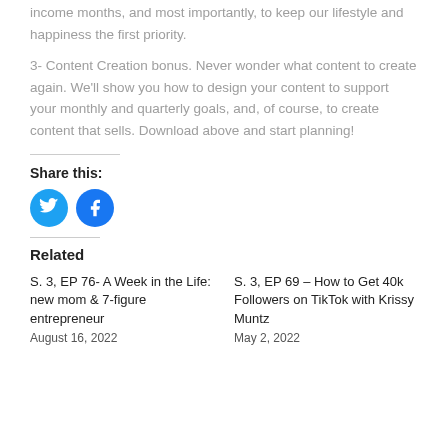income months, and most importantly, to keep our lifestyle and happiness the first priority.
3- Content Creation bonus. Never wonder what content to create again. We'll show you how to design your content to support your monthly and quarterly goals, and, of course, to create content that sells. Download above and start planning!
Share this:
[Figure (other): Twitter and Facebook social share icon buttons]
Related
S. 3, EP 76- A Week in the Life: new mom & 7-figure entrepreneur
August 16, 2022
S. 3, EP 69 – How to Get 40k Followers on TikTok with Krissy Muntz
May 2, 2022